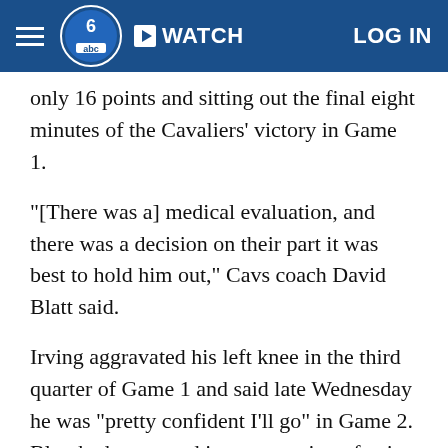WATCH  LOG IN
only 16 points and sitting out the final eight minutes of the Cavaliers' victory in Game 1.
"[There was a] medical evaluation, and there was a decision on their part it was best to hold him out," Cavs coach David Blatt said.
Irving aggravated his left knee in the third quarter of Game 1 and said late Wednesday he was "pretty confident I'll go" in Game 2. Blatt had presented it as a question of pain tolerance Friday morning, but the team was clear that Irving was mandated to sit out Game 2 with its latest update.
"We're evaluating as we go forward," Blatt said,